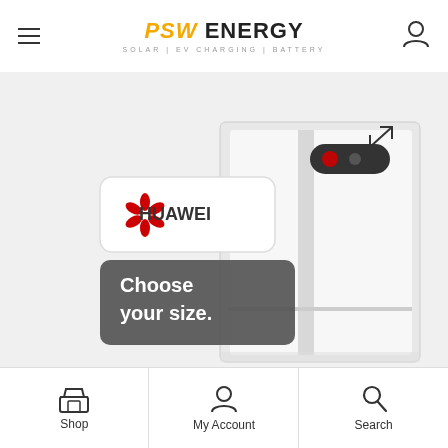PSW ENERGY — SOLAR | EV CHARGING | BATTERY
[Figure (photo): Huawei battery energy storage unit with Huawei logo badge and a dark tooltip overlay reading 'Choose your size.' The product is a tall white rectangular battery unit. An expand/fullscreen arrow icon is visible in the upper right of the image area.]
Shop | My Account | Search